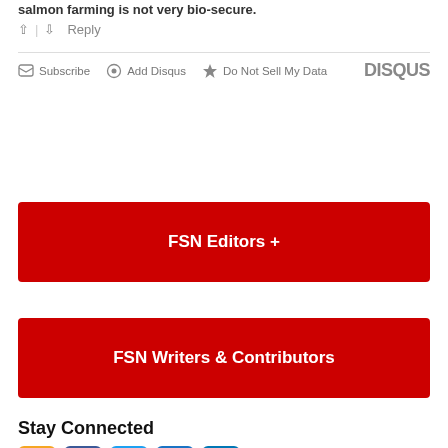salmon farming is not very bio-secure.
↑ | ↓  Reply
✉ Subscribe  ⊙ Add Disqus  ⚠ Do Not Sell My Data   DISQUS
[Figure (other): Red button labeled FSN Editors +]
[Figure (other): Red button labeled FSN Writers & Contributors]
Stay Connected
[Figure (other): Social media icons: RSS (orange), Facebook (blue), Twitter (light blue), Email (blue), LinkedIn (blue)]